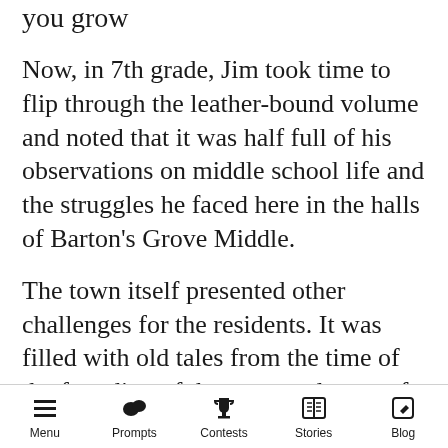you grow
Now, in 7th grade, Jim took time to flip through the leather-bound volume and noted that it was half full of his observations on middle school life and the struggles he faced here in the halls of Barton's Grove Middle.
The town itself presented other challenges for the residents. It was filled with old tales from the time of the founding of the town and most of them were inflated even more here in the school, especially in the month of October.
By far the most inflated of the tales was that of Old Preacher Campbell, the town's founder from
Menu   Prompts   Contests   Stories   Blog